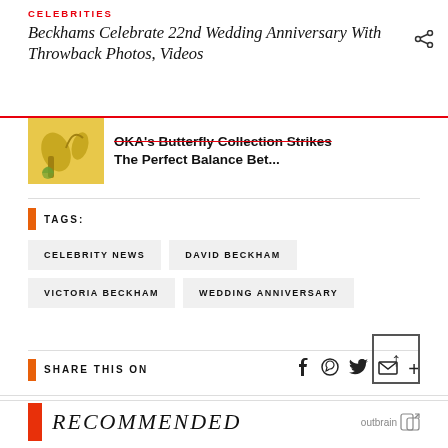CELEBRITIES
Beckhams Celebrate 22nd Wedding Anniversary With Throwback Photos, Videos
[Figure (photo): Thumbnail image with yellow background showing decorative elements; related article preview for OKA's Butterfly Collection Strikes The Perfect Balance Bet...]
TAGS:
CELEBRITY NEWS
DAVID BECKHAM
VICTORIA BECKHAM
WEDDING ANNIVERSARY
SHARE THIS ON
RECOMMENDED
outbrain